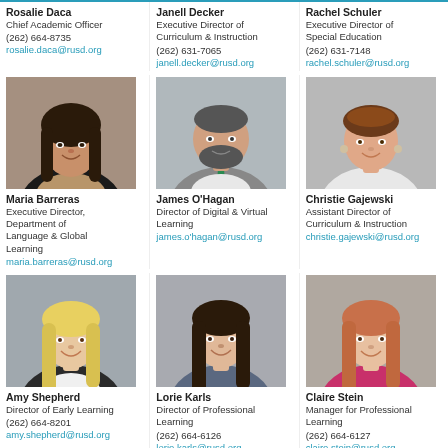Rosalie Daca
Chief Academic Officer
(262) 664-8735
rosalie.daca@rusd.org
Janell Decker
Executive Director of Curriculum & Instruction
(262) 631-7065
janell.decker@rusd.org
Rachel Schuler
Executive Director of Special Education
(262) 631-7148
rachel.schuler@rusd.org
[Figure (photo): Headshot photo of Maria Barreras]
Maria Barreras
Executive Director, Department of Language & Global Learning
maria.barreras@rusd.org
[Figure (photo): Headshot photo of James O'Hagan]
James O'Hagan
Director of Digital & Virtual Learning
james.o'hagan@rusd.org
[Figure (photo): Headshot photo of Christie Gajewski]
Christie Gajewski
Assistant Director of Curriculum & Instruction
christie.gajewski@rusd.org
[Figure (photo): Headshot photo of Amy Shepherd]
Amy Shepherd
Director of Early Learning
(262) 664-8201
amy.shepherd@rusd.org
[Figure (photo): Headshot photo of Lorie Karls]
Lorie Karls
Director of Professional Learning
(262) 664-6126
lorie.karls@rusd.org
[Figure (photo): Headshot photo of Claire Stein]
Claire Stein
Manager for Professional Learning
(262) 664-6127
claire.stein@rusd.org